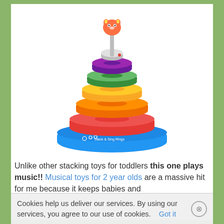[Figure (photo): VTech Stack & Sing Rings toy — a colorful stacking rings toy with a blue base, and rings stacked from largest to smallest: red, orange, yellow, green, purple, white, with an orange animal figure on top. The base is labeled 'Stack & Sing Rings'.]
Unlike other stacking toys for toddlers this one plays music!! Musical toys for 2 year olds are a massive hit for me because it keeps babies and
Cookies help us deliver our services. By using our services, you agree to our use of cookies.    Got it